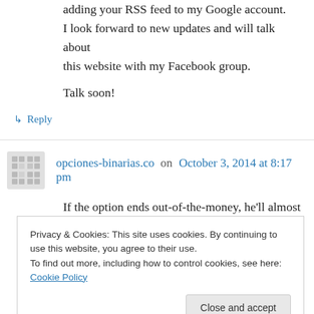adding your RSS feed to my Google account. I look forward to new updates and will talk about this website with my Facebook group.
Talk soon!
↳ Reply
opciones-binarias.co on October 3, 2014 at 8:17 pm
If the option ends out-of-the-money, he'll almost certainly simply get rid of 85%
Privacy & Cookies: This site uses cookies. By continuing to use this website, you agree to their use. To find out more, including how to control cookies, see here: Cookie Policy
Close and accept
because